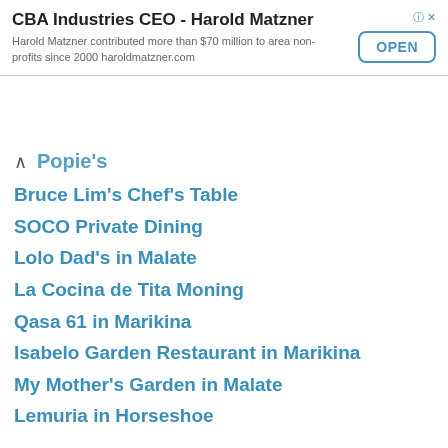[Figure (screenshot): Advertisement banner for CBA Industries CEO Harold Matzner with an OPEN button]
Popie's (partial, truncated at top)
Bruce Lim's Chef's Table
SOCO Private Dining
Lolo Dad's in Malate
La Cocina de Tita Moning
Qasa 61 in Marikina
Isabelo Garden Restaurant in Marikina
My Mother's Garden in Malate
Lemuria in Horseshoe
and
Chef Laudico's in Urdaneta (discontinued)
I have to mention Chef Laudico even if he discontinued